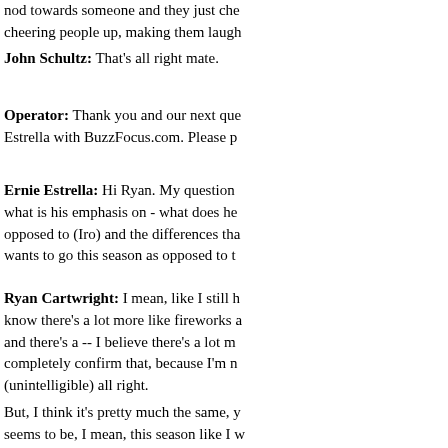nod towards someone and they just che cheering people up, making them laugh
John Schultz: That's all right mate.
Operator: Thank you and our next que Estrella with BuzzFocus.com. Please p
Ernie Estrella: Hi Ryan. My question what is his emphasis on - what does he opposed to (Iro) and the differences tha wants to go this season as opposed to t
Ryan Cartwright: I mean, like I still h know there's a lot more like fireworks a and there's a -- I believe there's a lot m completely confirm that, because I'm n (unintelligible) all right.
But, I think it's pretty much the same, y seems to be, I mean, this season like I w just a lot more (unintelligible) thing. T